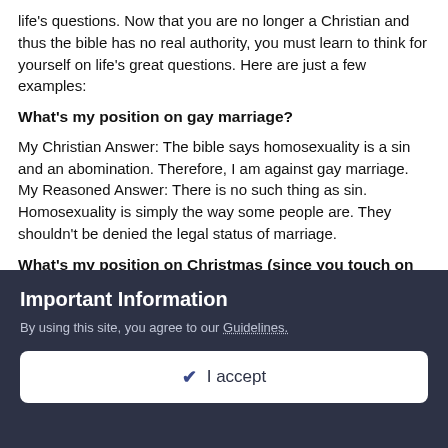life's questions. Now that you are no longer a Christian and thus the bible has no real authority, you must learn to think for yourself on life's great questions. Here are just a few examples:
What's my position on gay marriage?
My Christian Answer: The bible says homosexuality is a sin and an abomination. Therefore, I am against gay marriage.
My Reasoned Answer: There is no such thing as sin. Homosexuality is simply the way some people are. They shouldn't be denied the legal status of marriage.
What's my position on Christmas (since you touch on that)?
My Christian Answer: Christmas is the celebration of the birth of our lord and savior and we must not allow its secular corruption.
Important Information
By using this site, you agree to our Guidelines.
✔ I accept